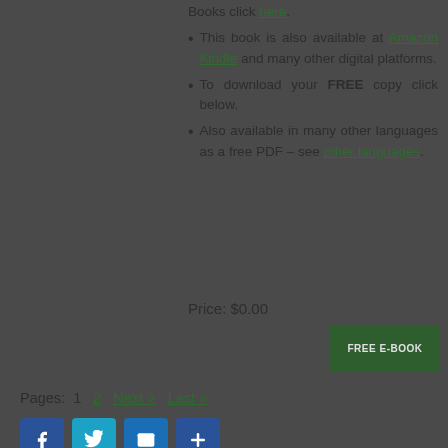Books click here.
This book is also available at Amazon Kindle and many other digital platforms.
To download your FREE copy click below.
Also available in many other languages as a free PDF – see other languages.
Price: $0.00
FREE E-BOOK
Pages: 1  2  Next >  Last »